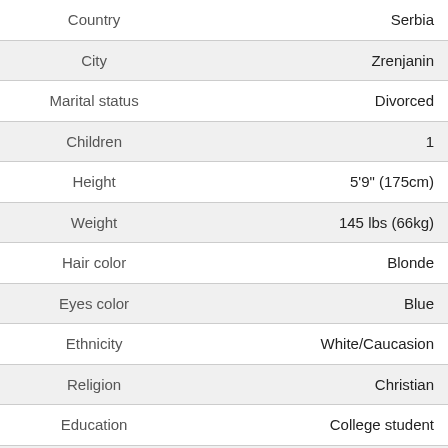| Field | Value |
| --- | --- |
| Country | Serbia |
| City | Zrenjanin |
| Marital status | Divorced |
| Children | 1 |
| Height | 5'9" (175cm) |
| Weight | 145 lbs (66kg) |
| Hair color | Blonde |
| Eyes color | Blue |
| Ethnicity | White/Caucasion |
| Religion | Christian |
| Education | College student |
| Known languages | English, Macedonian, Serbian, Bosnian |